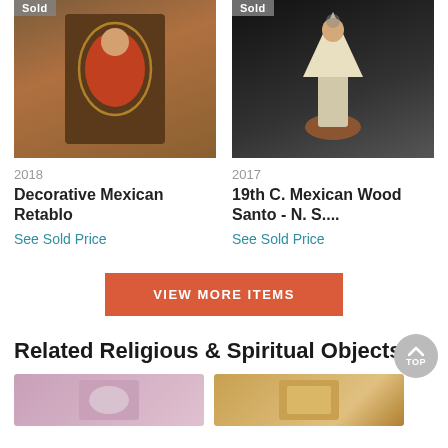[Figure (photo): Photo of a Decorative Mexican Retablo showing the Virgin of Guadalupe, with a 'Sold' badge overlay in the top-left corner.]
2018
Decorative Mexican Retablo
See Sold Price
[Figure (photo): Photo of a 19th Century Mexican Wood Santo - N. S. figure on a pedestal with a 'Sold' badge overlay in the top-left corner.]
2017
19th C. Mexican Wood Santo - N. S....
See Sold Price
VIEW MORE ITEMS
Related Religious & Spiritual Objects
[Figure (photo): Thumbnail of a related religious/spiritual object (left).]
[Figure (photo): Thumbnail of a related religious/spiritual object (right).]